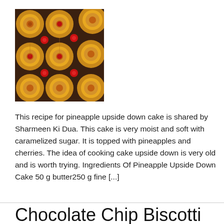[Figure (photo): Close-up photo of a pineapple upside down cake showing caramelized pineapple rings topped with red cherries arranged in a grid pattern]
This recipe for pineapple upside down cake is shared by Sharmeen Ki Dua. This cake is very moist and soft with caramelized sugar. It is topped with pineapples and cherries. The idea of cooking cake upside down is very old and is worth trying. Ingredients Of Pineapple Upside Down Cake 50 g butter250 g fine [...]
Chocolate Chip Biscotti